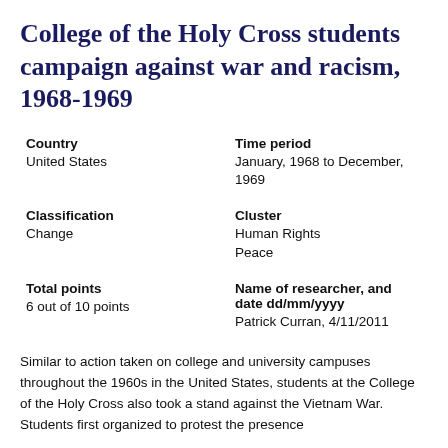College of the Holy Cross students campaign against war and racism, 1968-1969
| Field | Value |
| --- | --- |
| Country | United States |
| Time period | January, 1968 to December, 1969 |
| Classification | Change |
| Cluster | Human Rights
Peace |
| Total points | 6 out of 10 points |
| Name of researcher, and date dd/mm/yyyy | Patrick Curran, 4/11/2011 |
Similar to action taken on college and university campuses throughout the 1960s in the United States, students at the College of the Holy Cross also took a stand against the Vietnam War. Students first organized to protest the presence